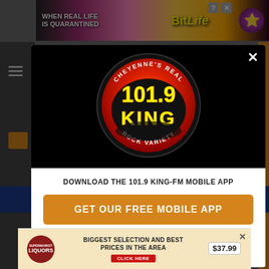[Figure (screenshot): Top banner advertisement for BitLife mobile game with rainbow gradient background, text 'WHEN REAL LIFE IS QUARANTINED' and BitLife branding with character icon]
[Figure (logo): 101.9 KING-FM radio station logo - circular badge with black border, red and orange gradient interior, yellow '101.9' text and 'KING' text in yellow, with 'CHEYENNE'S REAL' and 'ROCK VARIETY' text around the circle]
DOWNLOAD THE 101.9 KING-FM MOBILE APP
GET OUR FREE MOBILE APP
Also listen on:  amazon alexa
[Figure (screenshot): Bottom banner advertisement for Supermarket Liquors - 'BIGGEST SELECTION AND BEST PRICES IN THE AREA' with $37.99 price and bottle image, CLICK HERE button]